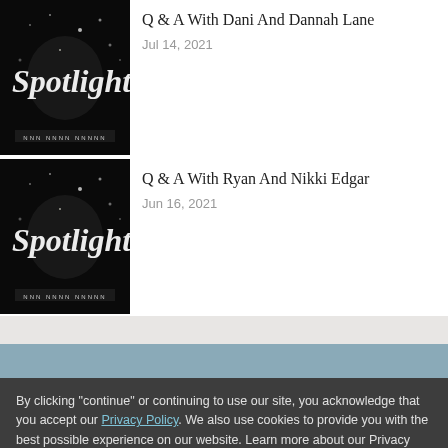Q & A With Dani And Dannah Lane
Jul 14, 2021
Q & A With Ryan And Nikki Edgar
Jun 16, 2021
By clicking "continue" or continuing to use our site, you acknowledge that you accept our Privacy Policy. We also use cookies to provide you with the best possible experience on our website. Learn more about our Privacy Policy and cookie use here, our site's Terms and Conditions here and Store Policy here.
Continue